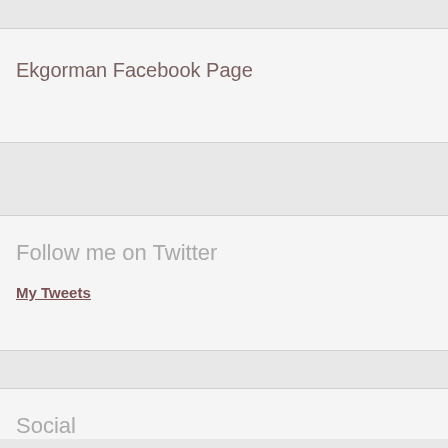Ekgorman Facebook Page
Follow me on Twitter
My Tweets
Social